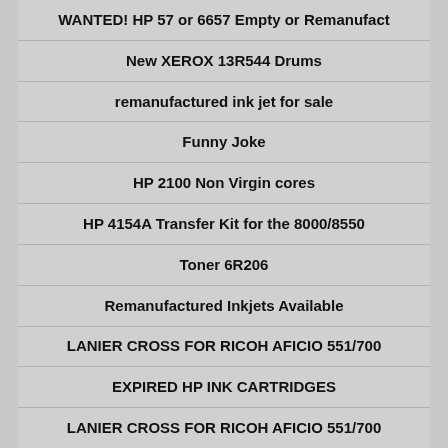WANTED! HP 57 or 6657 Empty or Remanufact
New XEROX 13R544 Drums
remanufactured ink jet for sale
Funny Joke
HP 2100 Non Virgin cores
HP 4154A Transfer Kit for the 8000/8550
Toner 6R206
Remanufactured Inkjets Available
LANIER CROSS FOR RICOH AFICIO 551/700
EXPIRED HP INK CARTRIDGES
LANIER CROSS FOR RICOH AFICIO 551/700